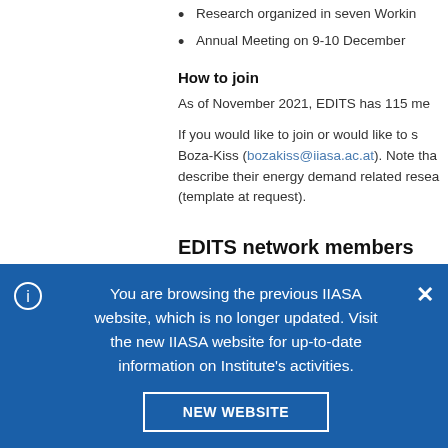Research organized in seven Workin
Annual Meeting on 9-10 December
How to join
As of November 2021, EDITS has 115 me
If you would like to join or would like to s Boza-Kiss (bozakiss@iiasa.ac.at). Note tha describe their energy demand related resea (template at request).
EDITS network members
International Institute for Applied Sy Program (ECE)
Research Institute of Innovative Tec
You are browsing the previous IIASA website, which is no longer updated. Visit the new IIASA website for up-to-date information on Institute's activities.
NEW WEBSITE